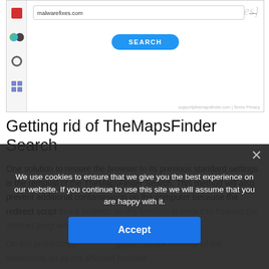[Figure (screenshot): Screenshot of a browser showing malwarefixes.com website with a search bar and SEARCH button, with social sharing sidebar icons on the left.]
Getting rid of TheMapsFinder Search
One solution to restore the browser to its previous standard settings is the removal of the TheMapsFinder Search. This method will also prevent additional contamination on the computer because the redirect script that it embeds on the browser is meant to forward the internet program to malicious sites.
On our procedures below, we suggest manual removal of the extensions on all the affected browser
We use cookies to ensure that we give you the best experience on our website. If you continue to use this site we will assume that you are happy with it.